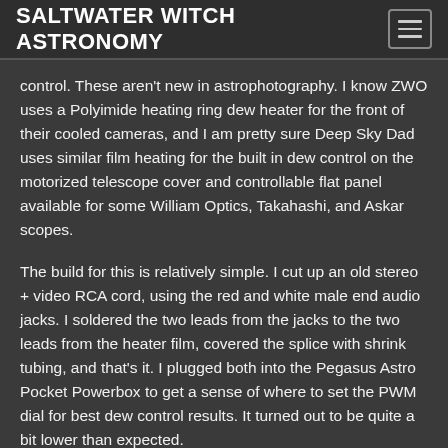SALTWATER WITCH ASTRONOMY
control. These aren't new in astrophotography. I know ZWO uses a Polyimide heating ring dew heater for the front of their cooled cameras, and I am pretty sure Deep Sky Dad uses similar film heating for the built in dew control on the motorized telescope cover and controllable flat panel available for some William Optics, Takahashi, and Askar scopes.
The build for this is relatively simple. I cut up an old stereo + video RCA cord, using the red and white male end audio jacks. I soldered the two leads from the jacks to the two leads from the heater film, covered the splice with shrink tubing, and that's it. I plugged both into the Pegasus Astro Pocket Powerbox to get a sense of where to set the PWM dial for best dew control results. It turned out to be quite a bit lower than expected.